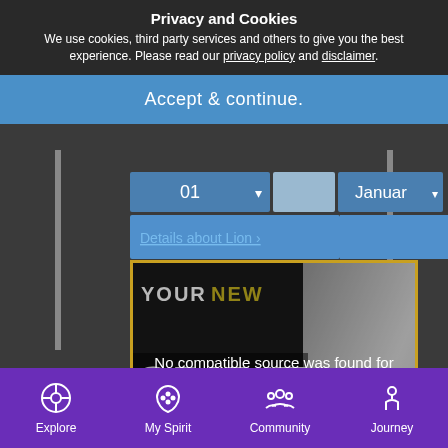Privacy and Cookies
We use cookies, third party services and others to give you the best experience. Please read our privacy policy and disclaimer.
Accept & continue.
01  ▾        Januar ▾
Details about Lion ›
[Figure (screenshot): Video player showing 'YOUR NEW SPIRIT ANIMAL' with a white wolf/fox character with blue face paint. Overlay says 'No compatible source was found for this media.' with an X close button.]
Find Your Spirit Animal | A NEW Jo...
[Figure (screenshot): Partial image at bottom with blue gradient thumbnail]
Explore   My Spirit   Community   Journey